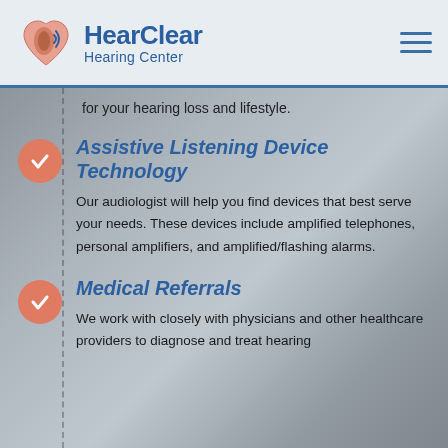[Figure (logo): HearClear Hearing Center logo with ear/heart icon and text]
for your hearing loss and lifestyle.
Assistive Listening Device Technology
Our audiologist will help you find devices that best serve your needs. These devices include amplified telephones, personal amplifiers, and amplified/flashing alarms.
Medical Referrals
We work with closely with physicians and other healthcare providers to diagnose and treat hearing